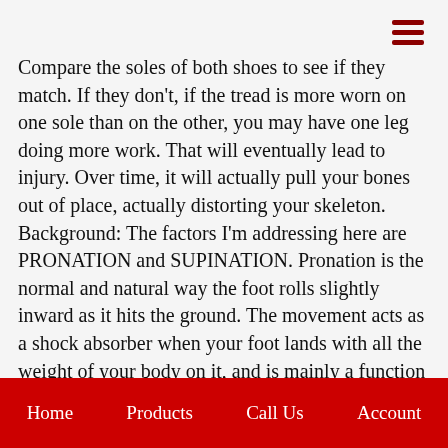≡
Compare the soles of both shoes to see if they match. If they don't, if the tread is more worn on one sole than on the other, you may have one leg doing more work. That will eventually lead to injury. Over time, it will actually pull your bones out of place, actually distorting your skeleton.
Background: The factors I'm addressing here are PRONATION and SUPINATION. Pronation is the normal and natural way the foot rolls slightly inward as it hits the ground. The movement acts as a shock absorber when your foot lands with all the weight of your body on it, and is mainly a function of the arch of the foot. Supination is the opposite foot movement; the normal way a foot rolls slightly outward as it pushes off to take a step.
Home   Products   Call Us   Account